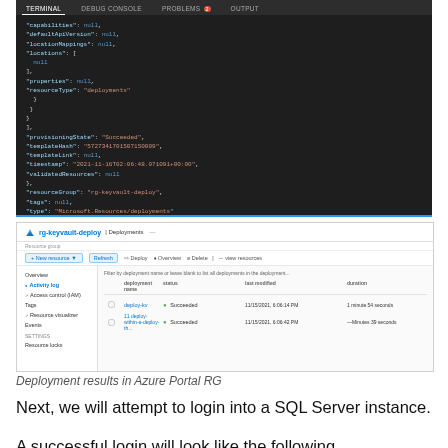[Figure (screenshot): Terminal window showing JSON output with fields like capabilities, defaultApiVersion, locationMappings, locations, properties, resourceType (deployments), provisioningState (Succeeded), templateHash, templateLink, timestamp, validatedResources, resourceGroup (rg-keyvault-deploy), tags, type (Microsoft.Resources/deployments), and a PS prompt at C:\Work\Learn-Bicep]
[Figure (screenshot): Azure Portal showing rg-keyvault-deploy | Deployments page with a list of deployments including deploy-kv and a nested deployment, both showing status Succeeded, with last modified timestamps and duration columns]
Deployment results in Azure Portal RG
Next, we will attempt to login into a SQL Server instance.
A successful login will look like the following